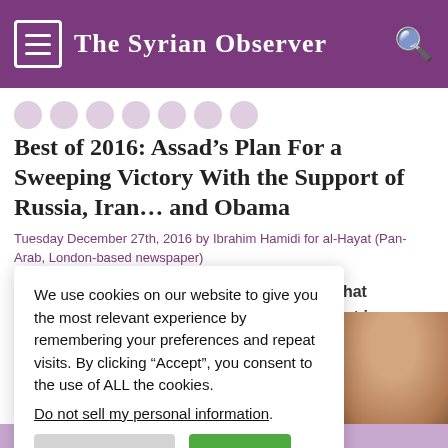The Syrian Observer
Best of 2016: Assad’s Plan For a Sweeping Victory With the Support of Russia, Iran… and Obama
Tuesday December 27th, 2016 by Ibrahim Hamidi for al-Hayat (Pan-Arab, London-based newspaper)
We use cookies on our website to give you the most relevant experience by remembering your preferences and repeat visits. By clicking “Accept”, you consent to the use of ALL the cookies.
Do not sell my personal information.
s allies is that achievement in ea of Assad’s e to domestic election
[Figure (photo): Partial photo of a person's face visible at bottom right]
Subscribe to our newsletter